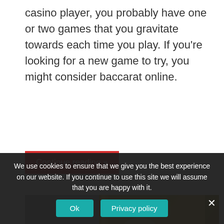casino player, you probably have one or two games that you gravitate towards each time you play. If you're looking for a new game to try, you might consider baccarat online.
Continue reading »
[Figure (photo): A blonde woman in a casino setting with tufted grey walls and gold decorative pillars in the background.]
We use cookies to ensure that we give you the best experience on our website. If you continue to use this site we will assume that you are happy with it.
Ok
Privacy policy